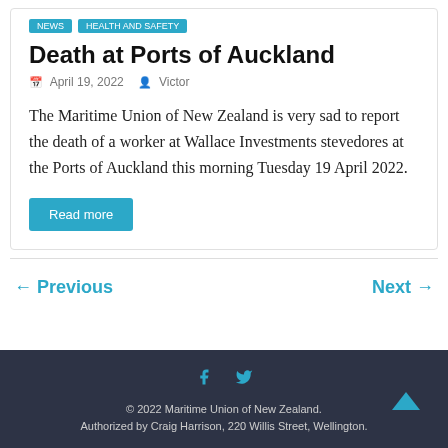Death at Ports of Auckland
April 19, 2022   Victor
The Maritime Union of New Zealand is very sad to report the death of a worker at Wallace Investments stevedores at the Ports of Auckland this morning Tuesday 19 April 2022.
Read more
← Previous
Next →
© 2022 Maritime Union of New Zealand. Authorized by Craig Harrison, 220 Willis Street, Wellington.